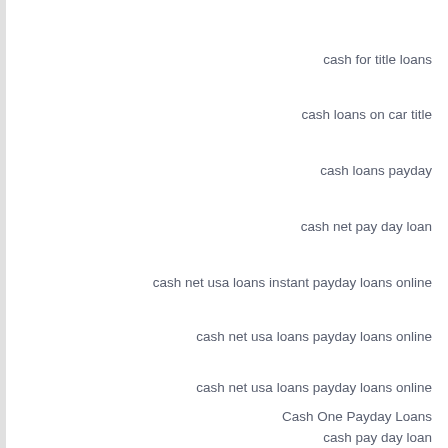cash for title loans
cash loans on car title
cash loans payday
cash net pay day loan
cash net usa loans instant payday loans online
cash net usa loans payday loans online
cash net usa loans payday loans online
Cash One Payday Loans
cash pay day loan